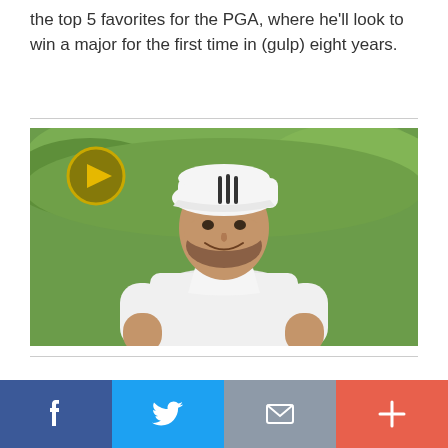the top 5 favorites for the PGA, where he'll look to win a major for the first time in (gulp) eight years.
[Figure (photo): A male golfer wearing a white polo shirt and a white cap with black stripes, smiling, with a green course background. A video play button overlay is visible in the top-left corner of the image.]
Social share bar with Facebook, Twitter, Email, and More buttons